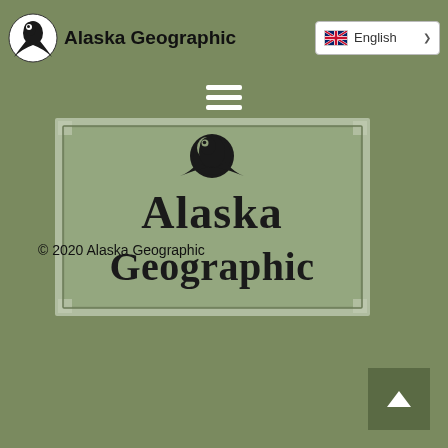Alaska Geographic | English
[Figure (logo): Alaska Geographic logo sign — dark green/grey rectangular sign with eagle/bird logo at top and text 'Alaska Geographic' in large black serif font]
© 2020 Alaska Geographic